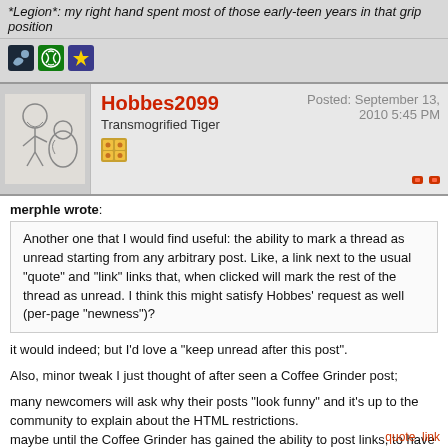*Legion*: my right hand spent most of those early-teen years in that grip position
[Figure (screenshot): Three gaming platform icons: Steam (black), Xbox (green), and a star/badge icon (dark blue)]
Hobbes2099
Transmogrified Tiger
Posted: September 13, 2010 5:45 PM
merphle wrote:
Another one that I would find useful: the ability to mark a thread as unread starting from any arbitrary post. Like, a link next to the usual "quote" and "link" links that, when clicked will mark the rest of the thread as unread. I think this might satisfy Hobbes' request as well (per-page "newness")?
it would indeed; but I'd love a "keep unread after this post".
Also, minor tweak I just thought of after seen a Coffee Grinder post;
many newcomers will ask why their posts "look funny" and it's up to the community to explain about the HTML restrictions.
maybe until the Coffee Grinder has gained the ability to post links, to have a disclaimer or warning;
quote   link